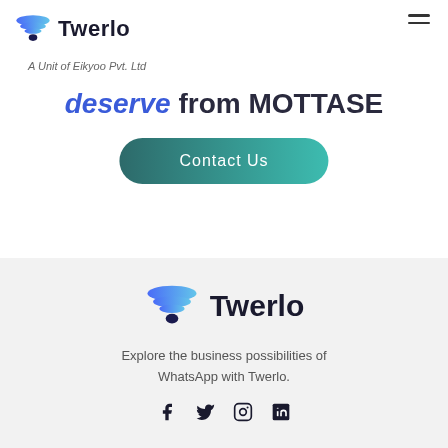[Figure (logo): Twerlo logo with blue layered funnel icon and bold text 'Twerlo']
A Unit of Eikyoo Pvt. Ltd
deserve from MOTTASE
Contact Us
[Figure (logo): Twerlo footer logo with blue layered funnel icon and bold text 'Twerlo']
Explore the business possibilities of WhatsApp with Twerlo.
[Figure (other): Social media icons: Facebook, Twitter, Instagram, LinkedIn]